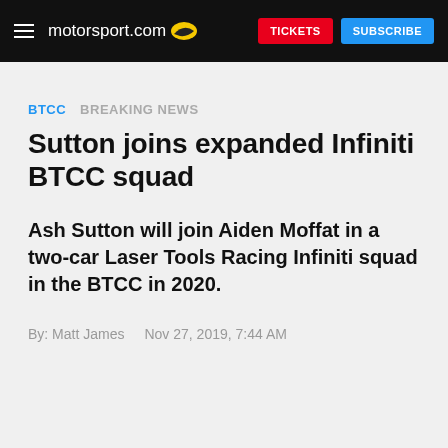motorsport.com  TICKETS  SUBSCRIBE
BTCC  BREAKING NEWS
Sutton joins expanded Infiniti BTCC squad
Ash Sutton will join Aiden Moffat in a two-car Laser Tools Racing Infiniti squad in the BTCC in 2020.
By: Matt James   Nov 27, 2019, 7:44 AM